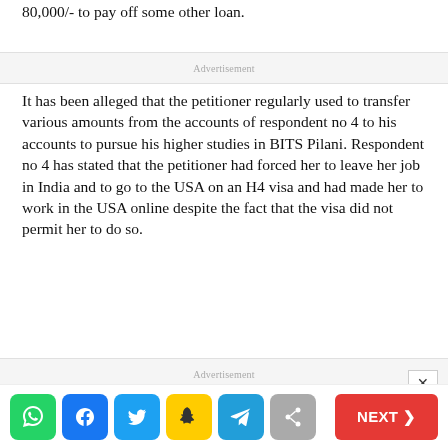80,000/- to pay off some other loan.
Advertisement
It has been alleged that the petitioner regularly used to transfer various amounts from the accounts of respondent no 4 to his accounts to pursue his higher studies in BITS Pilani. Respondent no 4 has stated that the petitioner had forced her to leave her job in India and to go to the USA on an H4 visa and had made her to work in the USA online despite the fact that the visa did not permit her to do so.
Advertisement